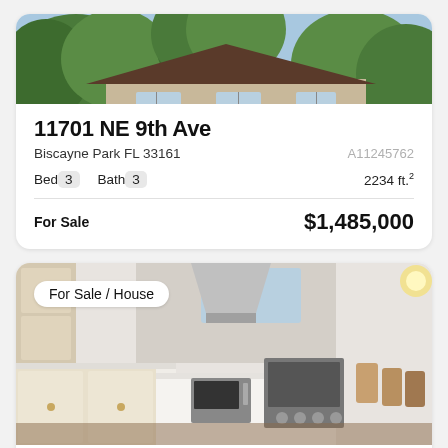[Figure (photo): Exterior photo of a house surrounded by trees and greenery, top portion visible]
11701 NE 9th Ave
Biscayne Park FL 33161   A11245762
Bed 3   Bath 3   2234 ft.²
For Sale   $1,485,000
[Figure (photo): Interior kitchen photo of a house for sale, modern white kitchen with stainless appliances. Badge overlay: For Sale / House]
11120 NE 8th Ave
Biscayne Park FL 33161   A11205109